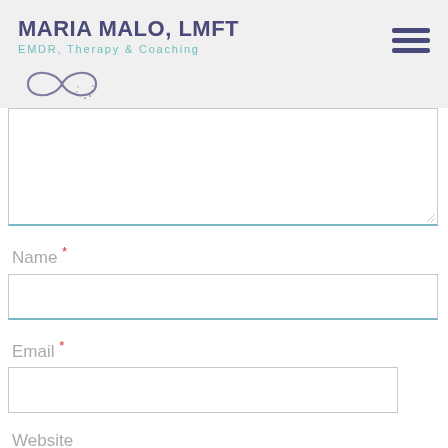MARIA MALO, LMFT
EMDR, Therapy & Coaching
[Figure (logo): Infinity loop logo SVG]
[Figure (other): Hamburger menu icon with three horizontal bars]
[Figure (other): Textarea form field (large empty text box)]
Name *
[Figure (other): Name input field (single line text box)]
Email *
[Figure (other): Email input field (single line text box)]
Website